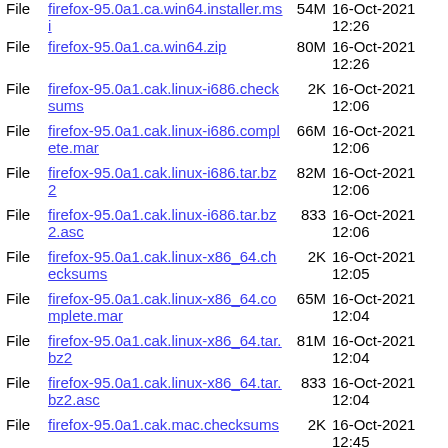File  firefox-95.0a1.ca.win64.installer.msi  54M  16-Oct-2021 12:26
File  firefox-95.0a1.ca.win64.zip  80M  16-Oct-2021 12:26
File  firefox-95.0a1.cak.linux-i686.checksums  2K  16-Oct-2021 12:06
File  firefox-95.0a1.cak.linux-i686.complete.mar  66M  16-Oct-2021 12:06
File  firefox-95.0a1.cak.linux-i686.tar.bz2  82M  16-Oct-2021 12:06
File  firefox-95.0a1.cak.linux-i686.tar.bz2.asc  833  16-Oct-2021 12:06
File  firefox-95.0a1.cak.linux-x86_64.checksums  2K  16-Oct-2021 12:05
File  firefox-95.0a1.cak.linux-x86_64.complete.mar  65M  16-Oct-2021 12:04
File  firefox-95.0a1.cak.linux-x86_64.tar.bz2  81M  16-Oct-2021 12:04
File  firefox-95.0a1.cak.linux-x86_64.tar.bz2.asc  833  16-Oct-2021 12:04
File  firefox-95.0a1.cak.mac.checksums  2K  16-Oct-2021 12:45
File  firefox-95.0a1.cak.mac.complete.mar  102M  16-Oct-2021 12:44